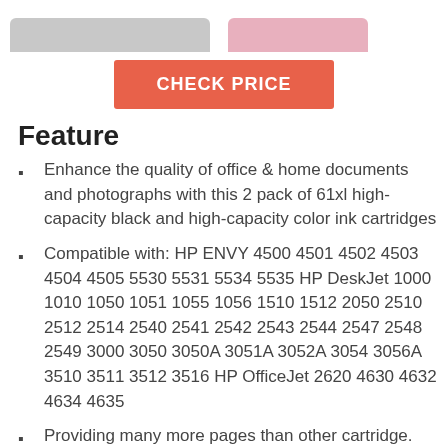[Figure (photo): Top portion of product images — black ink cartridge on left (gray bar) and pink/color ink cartridge on right (pink bar), partially cropped at top of page]
CHECK PRICE
Feature
Enhance the quality of office & home documents and photographs with this 2 pack of 61xl high-capacity black and high-capacity color ink cartridges
Compatible with: HP ENVY 4500 4501 4502 4503 4504 4505 5530 5531 5534 5535 HP DeskJet 1000 1010 1050 1051 1055 1056 1510 1512 2050 2510 2512 2514 2540 2541 2542 2543 2544 2547 2548 2549 3000 3050 3050A 3051A 3052A 3054 3056A 3510 3511 3512 3516 HP OfficeJet 2620 4630 4632 4634 4635
Providing many more pages than other cartridge. The unmatched reliability of our ink cartridges can...